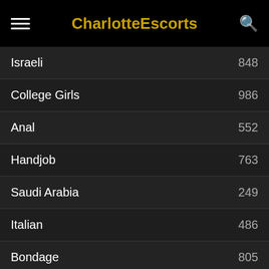CharlotteEscorts
Israeli 848
College Girls 986
Anal 552
Handjob 763
Saudi Arabia 249
Italian 486
Bondage 805
Blonde 461
Latina 853